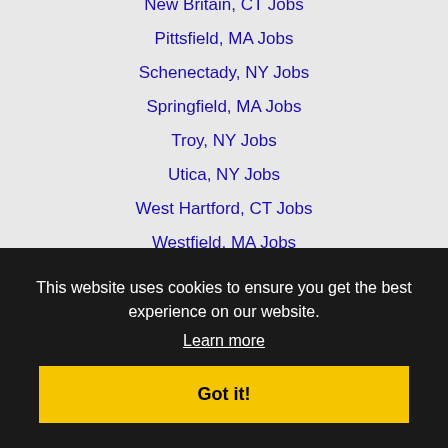New Britain, CT Jobs
Pittsfield, MA Jobs
Schenectady, NY Jobs
Springfield, MA Jobs
Troy, NY Jobs
Utica, NY Jobs
West Hartford, CT Jobs
Westfield, MA Jobs
This website uses cookies to ensure you get the best experience on our website.
Learn more
Got it!